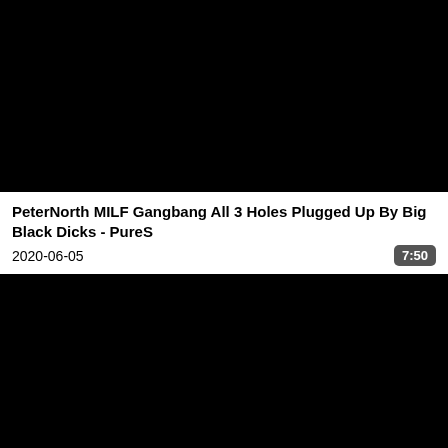[Figure (photo): Black thumbnail image for video]
PeterNorth MILF Gangbang All 3 Holes Plugged Up By Big Black Dicks - PureS
2020-06-05
7:50
[Figure (photo): Black thumbnail image for second video]